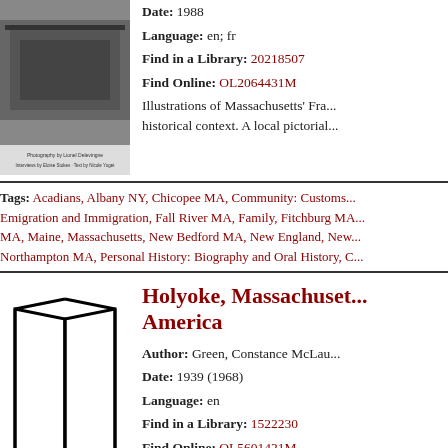[Figure (photo): Black and white photograph showing a crowd of people, book cover image]
Date: 1988
Language: en; fr
Find in a Library: 20218507
Find Online: OL2064431M
Illustrations of Massachusetts' Fra... historical context. A local pictorial...
Tags: Acadians, Albany NY, Chicopee MA, Community: Customs ... Emigration and Immigration, Fall River MA, Family, Fitchburg MA... MA, Maine, Massachusetts, New Bedford MA, New England, New... Northampton MA, Personal History: Biography and Oral History, C...
[Figure (illustration): Open book icon/placeholder illustration, line drawing of an open book]
Holyoke, Massachusetts... America
Author: Green, Constance McLau...
Date: 1939 (1968)
Language: en
Find in a Library: 1522230
Find Online: OL5601421M
A study of labor and industry in H... establishing later an emphasis on... during the Great Depression,...